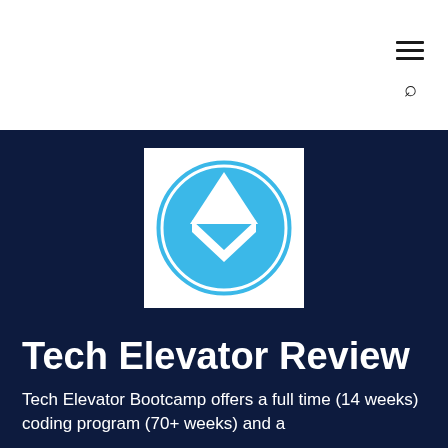[Figure (logo): Hamburger menu icon (three horizontal lines) and search icon in the top right of the white header bar]
[Figure (logo): Tech Elevator logo: a blue circle with a white upward-pointing arrow/chevron shape inside, on a dark navy background]
Tech Elevator Review
Tech Elevator Bootcamp offers a full time (14 weeks) coding program (70+ weeks) and a